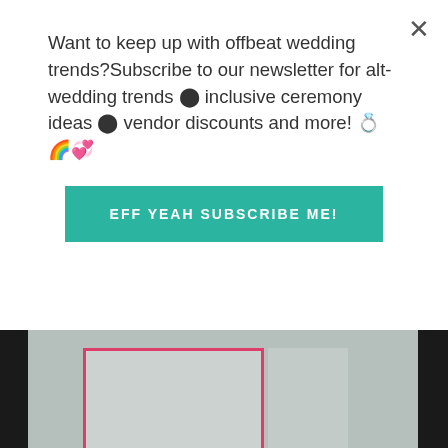Want to keep up with offbeat wedding trends?Subscribe to our newsletter for alt-wedding trends ⬤ inclusive ceremony ideas ⬤ vendor discounts and more! 💍🌈💞
[Figure (other): Button with teal background reading EFF YEAH SUBSCRIBE ME! in white uppercase bold letters]
[Figure (other): Offbeat Bride's Guide to Inclusive Marketing For Wedding Vendors - book promotional image with teal banner, Offbeat Bride logo circle, and white italic serif text on teal background. Grey upper portion shows a partial book image.]
[Figure (other): Pink/magenta button reading LEARN MORE in white uppercase bold letters]
ABOUT US